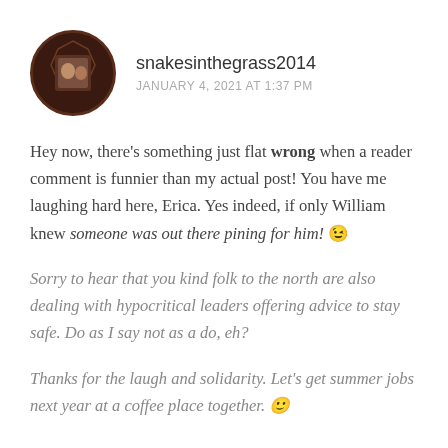[Figure (photo): Circular avatar with dark brown background showing a small photo of two people]
snakesinthegrass2014
JANUARY 4, 2021 AT 1:37 PM
Hey now, there's something just flat wrong when a reader comment is funnier than my actual post! You have me laughing hard here, Erica. Yes indeed, if only William knew someone was out there pining for him! 😉
Sorry to hear that you kind folk to the north are also dealing with hypocritical leaders offering advice to stay safe. Do as I say not as a do, eh?
Thanks for the laugh and solidarity. Let's get summer jobs next year at a coffee place together. 🙂